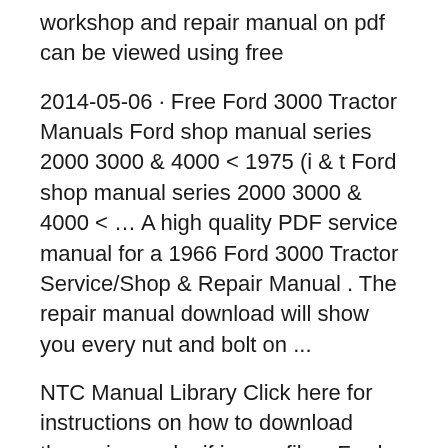workshop and repair manual on pdf can be viewed using free
2014-05-06 · Free Ford 3000 Tractor Manuals Ford shop manual series 2000 3000 & 4000 < 1975 (i & t Ford shop manual series 2000 3000 & 4000 < … A high quality PDF service manual for a 1966 Ford 3000 Tractor Service/Shop & Repair Manual . The repair manual download will show you every nut and bolt on ...
NTC Manual Library Click here for instructions on how to download these .jpg and .gif image files. Ford 3000 Series Tractor Data & Spec Sheet Ford Tractor Service Manual Series Covers